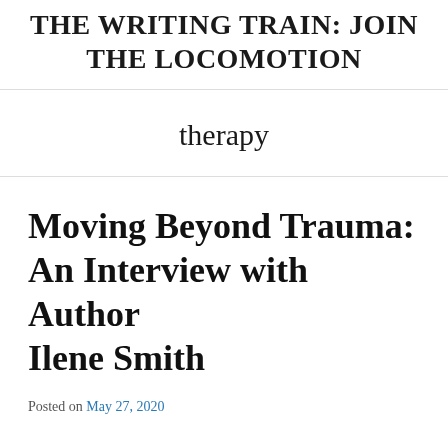THE WRITING TRAIN: JOIN THE LOCOMOTION
therapy
Moving Beyond Trauma: An Interview with Author Ilene Smith
Posted on May 27, 2020